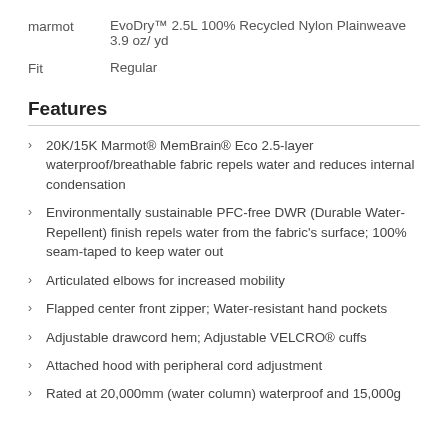marmot   EvoDry™ 2.5L 100% Recycled Nylon Plainweave 3.9 oz/ yd
Fit   Regular
Features
20K/15K Marmot® MemBrain® Eco 2.5-layer waterproof/breathable fabric repels water and reduces internal condensation
Environmentally sustainable PFC-free DWR (Durable Water-Repellent) finish repels water from the fabric's surface; 100% seam-taped to keep water out
Articulated elbows for increased mobility
Flapped center front zipper; Water-resistant hand pockets
Adjustable drawcord hem; Adjustable VELCRO® cuffs
Attached hood with peripheral cord adjustment
Rated at 20,000mm (water column) waterproof and 15,000g